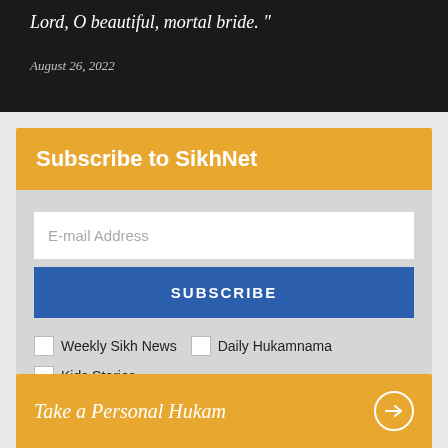[Figure (photo): Dark background image with italic white text reading 'Lord, O beautiful, mortal bride.' and a date below]
Lord, O beautiful, mortal bride. "
August 26, 2022
Subscribe to SikhNet
E-mail Address
SUBSCRIBE
Weekly Sikh News
Daily Hukamnama
Kids Stories
Gurbani Media Center Kirtan
Inspirational Videos
Updates
Take a Personal Hukam